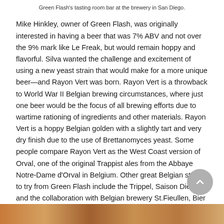Green Flash's tasting room bar at the brewery in San Diego.
Mike Hinkley, owner of Green Flash, was originally interested in having a beer that was 7% ABV and not over the 9% mark like Le Freak, but would remain hoppy and flavorful. Silva wanted the challenge and excitement of using a new yeast strain that would make for a more unique beer—and Rayon Vert was born. Rayon Vert is a throwback to World War II Belgian brewing circumstances, where just one beer would be the focus of all brewing efforts due to wartime rationing of ingredients and other materials. Rayon Vert is a hoppy Belgian golden with a slightly tart and very dry finish due to the use of Brettanomyces yeast. Some people compare Rayon Vert as the West Coast version of Orval, one of the original Trappist ales from the Abbaye Notre-Dame d'Orval in Belgium. Other great Belgian styles to try from Green Flash include the Trippel, Saison Diego and the collaboration with Belgian brewery St.Fieullen, Bier de L'Amatie or 'Friendship Brew.'
Green Flash Brewing Company- 6550 Mira Mesa Boulevard, San Diego, CA
[Figure (photo): Bottom strip showing partial image of people or beer-related scene at the brewery]